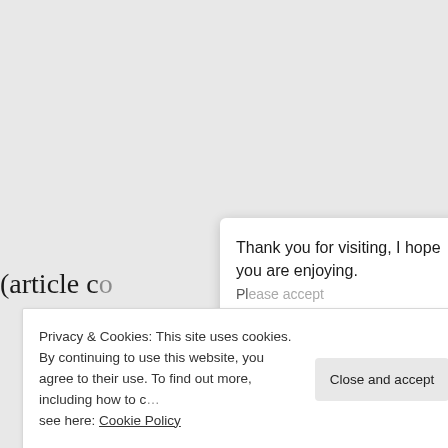Thank you for visiting, I hope you are enjoying.
(article co... A
Privacy & Cookies: This site uses cookies. By continuing to use this website, you agree to their use. To find out more, including how to c... see here: Cookie Policy
Close and accept
Sanctori Lewis